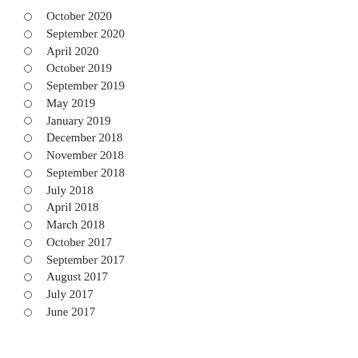October 2020
September 2020
April 2020
October 2019
September 2019
May 2019
January 2019
December 2018
November 2018
September 2018
July 2018
April 2018
March 2018
October 2017
September 2017
August 2017
July 2017
June 2017